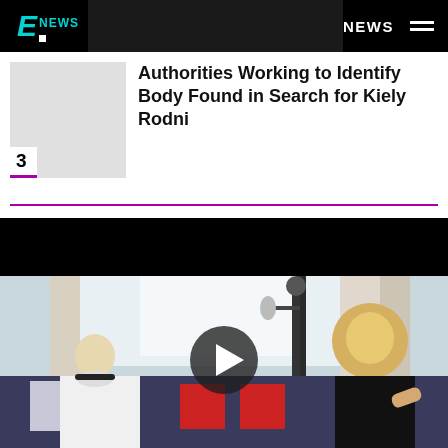E! NEWS — NEWS
Authorities Working to Identify Body Found in Search for Kiely Rodni
[Figure (photo): Thumbnail image placeholder (light grey box) with number 3 badge for article ranked 3rd]
[Figure (photo): Video player showing two women seated on a couch with colorful pillows in a bright room, with a play button overlay and black bar at top]